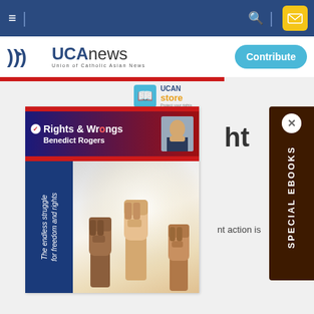UCANews navigation bar with hamburger menu, search, and email button
[Figure (logo): UCANews logo - Union of Catholic Asian News with Contribute button]
[Figure (screenshot): UCAN store badge with book icon]
[Figure (screenshot): Rights & Wrongs by Benedict Rogers ebook cover with fists image and sidebar text: The endless struggle for freedom and rights. SPECIAL EBOOKS panel overlay on right side.]
ht
nt action is